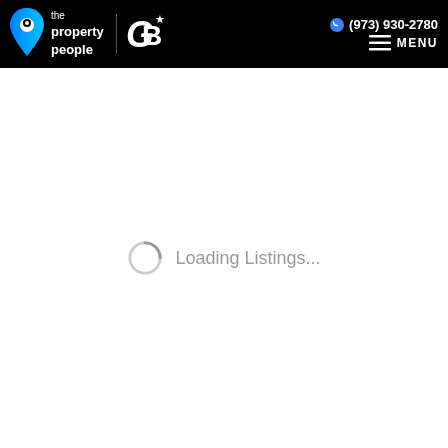the property people | CB (973) 930-2780 MENU
Loading Listings...